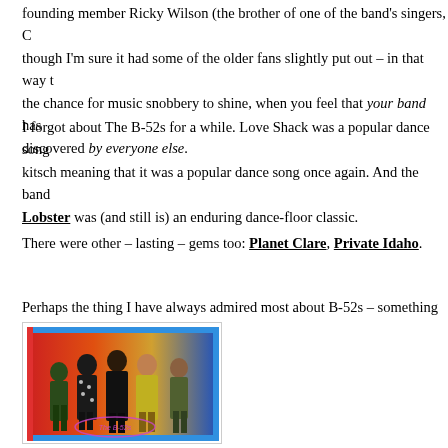founding member Ricky Wilson (the brother of one of the band's singers, C though I'm sure it had some of the older fans slightly put out – in that way t the chance for music snobbery to shine, when you feel that your band has discovered by everyone else.
I forgot about The B-52s for a while. Love Shack was a popular dance song kitsch meaning that it was a popular dance song once again. And the band Lobster was (and still is) an enduring dance-floor classic.
There were other – lasting – gems too: Planet Clare, Private Idaho.
Perhaps the thing I have always admired most about B-52s – something th
[Figure (photo): Album cover or promotional photo of The B-52s band members posed together against a colorful red/orange/blue background, with the band name visible at the bottom]